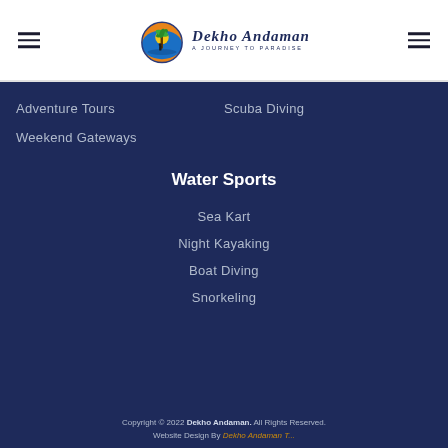Dekho Andaman — A Journey to Paradise (logo/header)
Adventure Tours
Scuba Diving
Weekend Gateways
Water Sports
Sea Kart
Night Kayaking
Boat Diving
Snorkeling
Copyright © 2022 Dekho Andaman. All Rights Reserved. Website Design By Dekho Andaman Team